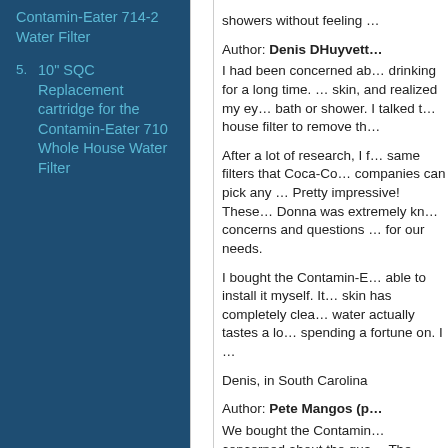Contamin-Eater 714-2 Water Filter
5. 10" SQC Replacement cartridge for the Contamin-Eater 710 Whole House Water Filter
showers without feeling …
Author: Denis DHuyvett… I had been concerned ab… drinking for a long time. … skin, and realized my ey… bath or shower. I talked t… house filter to remove th…
After a lot of research, I f… same filters that Coca-Co… companies can pick any … Pretty impressive! These… Donna was extremely kn… concerns and questions … for our needs.
I bought the Contamin-E… able to install it myself. It… skin has completely clea… water actually tastes a lo… spending a fortune on. I …
Denis, in South Carolina
Author: Pete Mangos (p… We bought the Contamin… concerned about the qua… The TTHM levels in our…